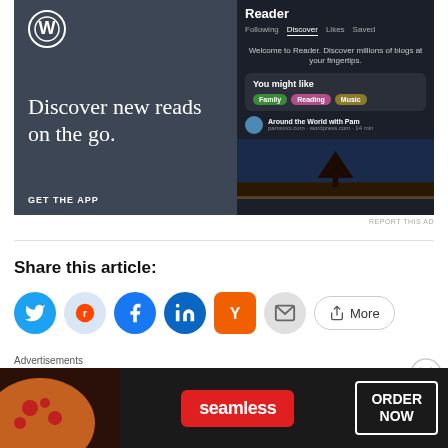[Figure (screenshot): WordPress app advertisement banner showing 'Discover new reads on the go. GET THE APP' with a Reader app interface screenshot on a dark blue-gray background]
REPORT THIS AD
Share this article:
[Figure (infographic): Social sharing buttons: Twitter (blue circle), Reddit (light blue circle), Facebook (blue circle), LinkedIn (dark blue circle), Hacker News Y (orange square), Email (gray circle), More button]
Advertisements
[Figure (screenshot): Seamless food delivery advertisement banner showing pizza, seamless logo in red, and ORDER NOW button]